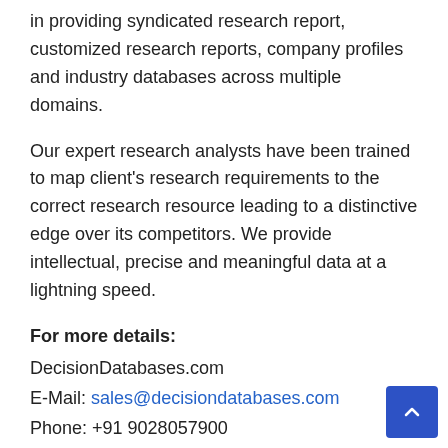in providing syndicated research report, customized research reports, company profiles and industry databases across multiple domains.
Our expert research analysts have been trained to map client's research requirements to the correct research resource leading to a distinctive edge over its competitors. We provide intellectual, precise and meaningful data at a lightning speed.
For more details:
DecisionDatabases.com
E-Mail: sales@decisiondatabases.com
Phone: +91 9028057900
Web: https://www.decisiondatabases.com/